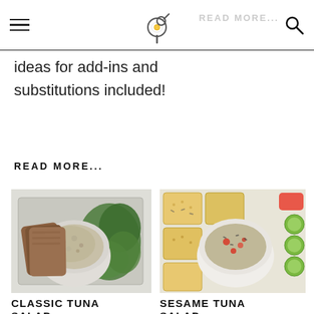Navigation header with hamburger menu, logo, and search icon
ideas for add-ins and substitutions included!
READ MORE...
[Figure (photo): Overhead photo of classic tuna salad in a bowl with bread slices and green salad on a tray]
CLASSIC TUNA SALAD
[Figure (photo): Overhead photo of sesame tuna salad in a white bowl surrounded by crackers, cucumber slices, and peppers]
SESAME TUNA SALAD